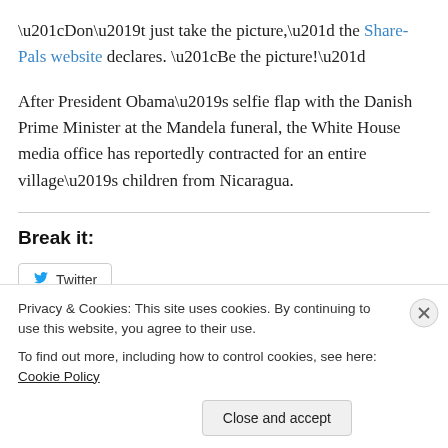“Don’t just take the picture,” the Share-Pals website declares. “Be the picture!”
After President Obama’s selfie flap with the Danish Prime Minister at the Mandela funeral, the White House media office has reportedly contracted for an entire village’s children from Nicaragua.
Break it:
[Figure (screenshot): Twitter share button with bird icon and 'Twitter' label]
Privacy & Cookies: This site uses cookies. By continuing to use this website, you agree to their use.
To find out more, including how to control cookies, see here: Cookie Policy
Close and accept